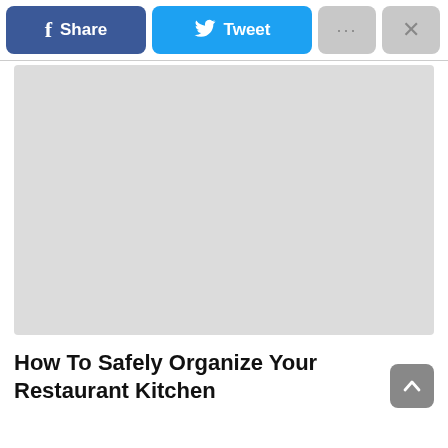[Figure (screenshot): Social sharing toolbar with Facebook Share button (dark blue), Twitter Tweet button (light blue), a dots/more button (gray), and a close X button (gray)]
[Figure (photo): Large light gray image placeholder rectangle]
How To Safely Organize Your Restaurant Kitchen